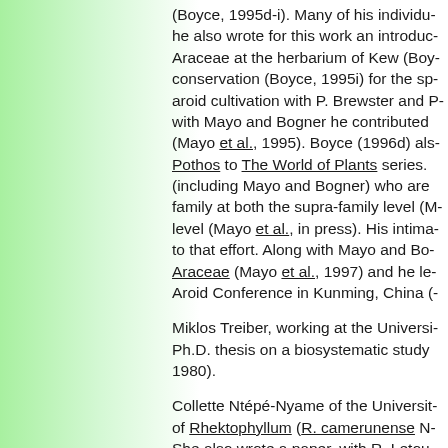(Boyce, 1995d-i). Many of his individu... he also wrote for this work an introduc... Araceae at the herbarium of Kew (Boy... conservation (Boyce, 1995i) for the sp... aroid cultivation with P. Brewster and ... with Mayo and Bogner he contributed ... (Mayo et al., 1995). Boyce (1996d) als... Pothos to The World of Plants series. (including Mayo and Bogner) who are ... family at both the supra-family level (M... level (Mayo et al., in press). His intima... to that effort. Along with Mayo and Bo... Araceae (Mayo et al., 1997) and he le... Aroid Conference in Kunming, China (...

Miklos Treiber, working at the Universi... Ph.D. thesis on a biosystematic study ... 1980).

Collette Ntépé-Nyame of the Universit... of Rhektophyllum (R. camerunense N... She also wrote a paper, with R. Letou... taxonomic problems with Culcasia sca... recent contribution is the treatment of ... (Ntépé-Nyame, 1988). The treatment...